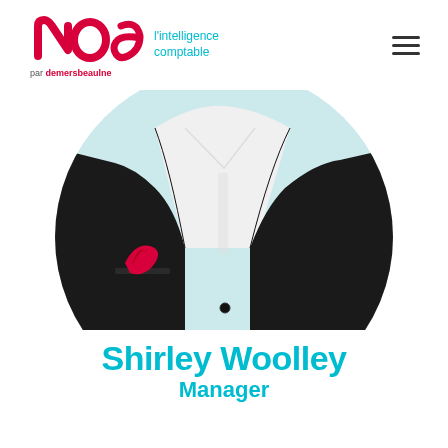[Figure (logo): noa l'intelligence comptable par demersbeaulne logo — red stylized 'noa' letters with teal text 'l’intelligence comptable' and below 'par demersbeaulne' in dark text with red 'demersbeaulne']
[Figure (photo): Close-up photo of a person wearing a dark business suit with white shirt and a red pocket square, shown from chest down, inside a circular frame with light blue/teal background]
Shirley Woolley
Manager